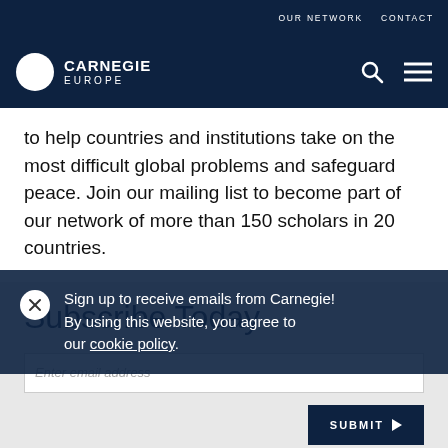OUR NETWORK   CONTACT
[Figure (logo): Carnegie Europe logo — white circle with C shape and text CARNEGIE EUROPE on dark navy background]
to help countries and institutions take on the most difficult global problems and safeguard peace. Join our mailing list to become part of our network of more than 150 scholars in 20 countries.
Subscribe Today
Sign up to receive emails from Carnegie!
By using this website, you agree to our cookie policy.